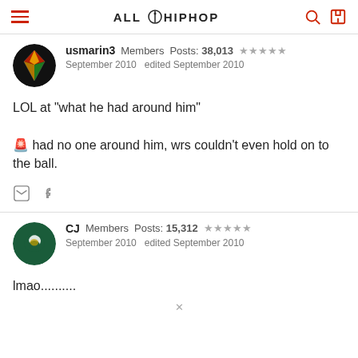ALL HIP HOP
usmarin3  Members  Posts: 38,013  ★★★★★
September 2010  edited September 2010
LOL at "what he had around him"
🚨 had no one around him, wrs couldn't even hold on to the ball.
CJ  Members  Posts: 15,312  ★★★★★
September 2010  edited September 2010
lmao..........